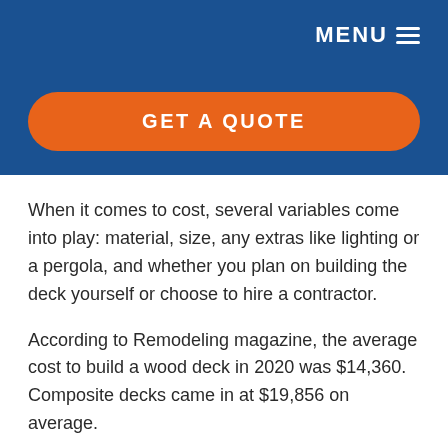MENU ≡
GET A QUOTE
When it comes to cost, several variables come into play: material, size, any extras like lighting or a pergola, and whether you plan on building the deck yourself or choose to hire a contractor.
According to Remodeling magazine, the average cost to build a wood deck in 2020 was $14,360. Composite decks came in at $19,856 on average.